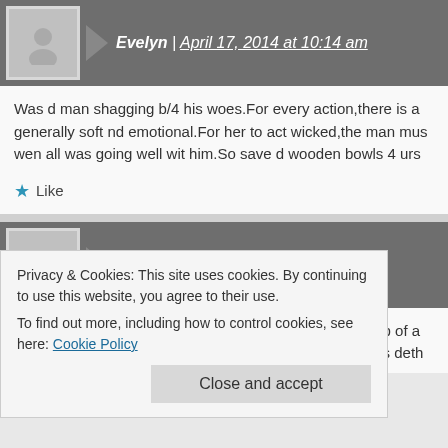Evelyn | April 17, 2014 at 10:14 am
Was d man shagging b/4 his woes.For every action,there is a generally soft nd emotional.For her to act wicked,the man mus wen all was going well wit him.So save d wooden bowls 4 urs
★ Like
Ezinne | April 17, 2014 at 10:39 am
When JESUS is enthroned in a home under d leadership of a righteousness,peace nd joy in d Holy Ghost.Where He is deth
Privacy & Cookies: This site uses cookies. By continuing to use this website, you agree to their use.
To find out more, including how to control cookies, see here: Cookie Policy
Close and accept